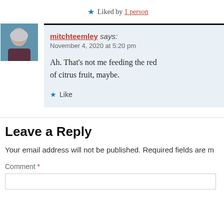★ Liked by 1 person
mitchteemley says:
November 4, 2020 at 5:20 pm

Ah. That's not me feeding the red ... of citrus fruit, maybe.

★ Like
Leave a Reply
Your email address will not be published. Required fields are m...
Comment *